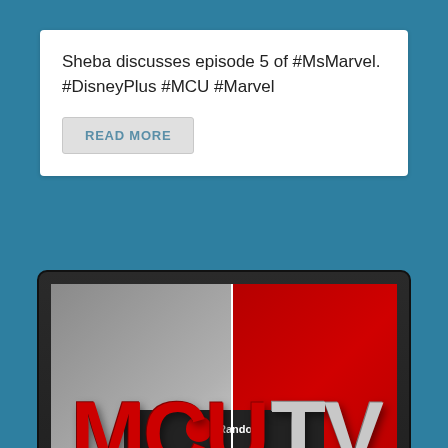Sheba discusses episode 5 of #MsMarvel. #DisneyPlus #MCU #Marvel
READ MORE
[Figure (logo): MCU TV logo displayed on a TV screen illustration. Large red 'MCU' text on left grey panel and grey 'TV' text on right red panel, with a white horizontal bar at the bottom. TV has a dark bezel with a green power LED and 'POWER' label. Below the TV is a partial strip showing 'Random' text with a logo.]